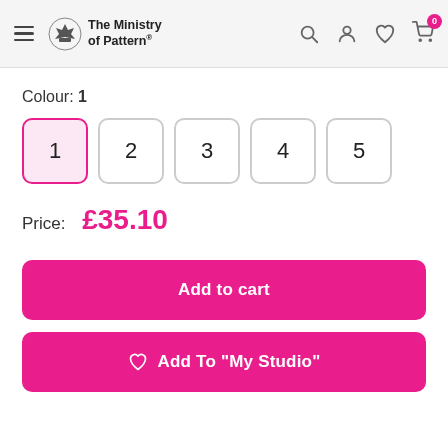The Ministry of Pattern
Colour: 1
1  2  3  4  5
Price: £35.10
Add to cart
♡ Add To "My Studio"